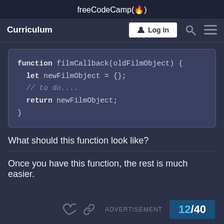freeCodeCamp(🔥)
Curriculum
[Figure (screenshot): Navigation bar with Log In button, search icon, and menu icon]
What should this function look like?
Once you have this function, the rest is much easier.
ADVERTISEMENT  12/40